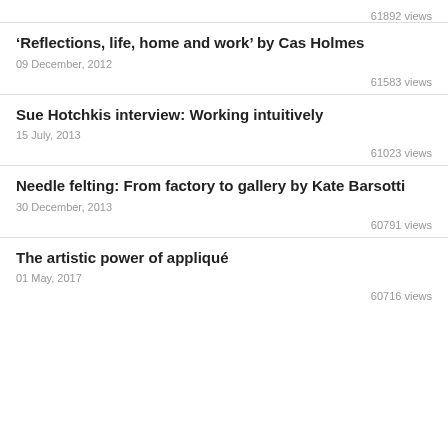61892 views
‘Reflections, life, home and work’ by Cas Holmes
09 December, 2012
61583 views
Sue Hotchkis interview: Working intuitively
15 July, 2013
61023 views
Needle felting: From factory to gallery by Kate Barsotti
30 December, 2013
60791 views
The artistic power of appliqué
01 May, 2017
60716 views